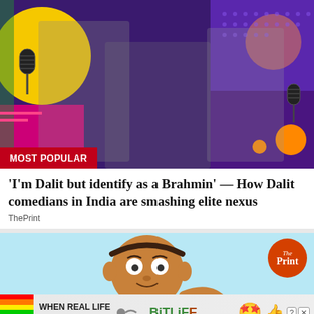[Figure (photo): Colorful promotional image with black and white photos of three Dalit comedians (two male, one female) against a vibrant purple, yellow, orange, and magenta graphic background with microphones. A 'MOST POPULAR' red badge is overlaid at the bottom left.]
'I'm Dalit but identify as a Brahmin' — How Dalit comedians in India are smashing elite nexus
ThePrint
[Figure (illustration): Light blue background advertisement image featuring a cartoon character (brown-skinned person with round eyes) holding something, with 'The Print' logo circle in orange at top right, 'Advertisement' text in center, and a BitLife app advertisement bar at the bottom with rainbow stripe, text 'WHEN REAL LIFE IS QUARANTINED', sperm emoji, BitLife logo, star-eyes emoji with face mask, and thumbs up emoji. Controls with question mark and X buttons visible.]